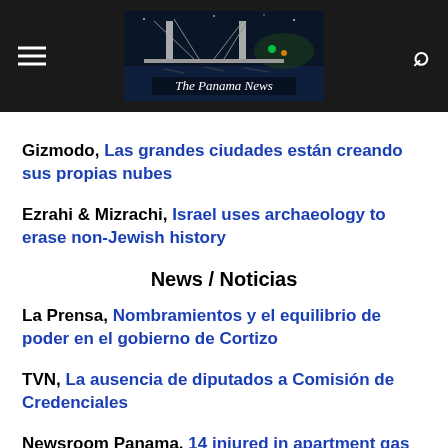The Panama News
Gizmodo, Las grandes ciudades están creando sus propias nubes
Ezrahi & Mizrachi, Israel uses archaeology to erase non-Jewish history
News / Noticias
La Prensa, Nombramientos y el equilibrio de poder en el gobierno de Cortizo
TVN, La ausencia de diputados a Comisión de Credenciales
Newsroom Panama, 14 injured in apartment gas